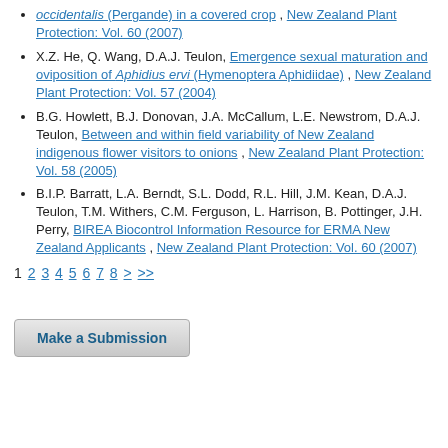occidentalis (Pergande) in a covered crop , New Zealand Plant Protection: Vol. 60 (2007)
X.Z. He, Q. Wang, D.A.J. Teulon, Emergence sexual maturation and oviposition of Aphidius ervi (Hymenoptera Aphidiidae) , New Zealand Plant Protection: Vol. 57 (2004)
B.G. Howlett, B.J. Donovan, J.A. McCallum, L.E. Newstrom, D.A.J. Teulon, Between and within field variability of New Zealand indigenous flower visitors to onions , New Zealand Plant Protection: Vol. 58 (2005)
B.I.P. Barratt, L.A. Berndt, S.L. Dodd, R.L. Hill, J.M. Kean, D.A.J. Teulon, T.M. Withers, C.M. Ferguson, L. Harrison, B. Pottinger, J.H. Perry, BIREA Biocontrol Information Resource for ERMA New Zealand Applicants , New Zealand Plant Protection: Vol. 60 (2007)
1 2 3 4 5 6 7 8 > >>
Make a Submission